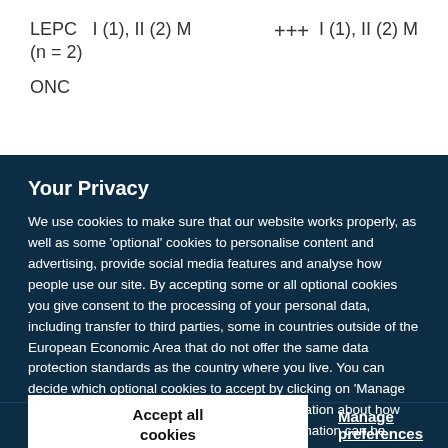LEPC (n = 2)   I (1), II (2) M   +++   I (1), II (2) M
ONC
Your Privacy
We use cookies to make sure that our website works properly, as well as some ‘optional’ cookies to personalise content and advertising, provide social media features and analyse how people use our site. By accepting some or all optional cookies you give consent to the processing of your personal data, including transfer to third parties, some in countries outside of the European Economic Area that do not offer the same data protection standards as the country where you live. You can decide which optional cookies to accept by clicking on ‘Manage Settings’, where you can also find more information about how your personal data is processed. Further information can be found in our privacy policy.
Accept all cookies
Manage preferences